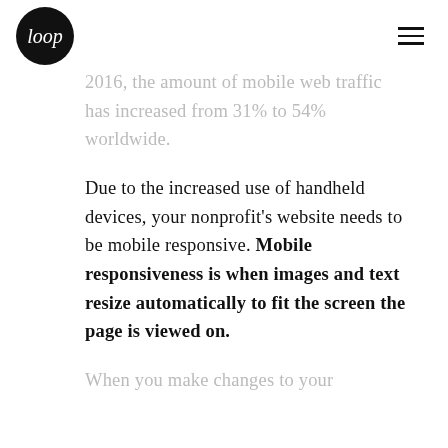Loop [logo] [hamburger menu]
2016, the amount of mobile web traffic has increased from 31% to 54% worldwide.
Due to the increased use of handheld devices, your nonprofit's website needs to be mobile responsive. Mobile responsiveness is when images and text resize automatically to fit the screen the page is viewed on.
When you make changes to your